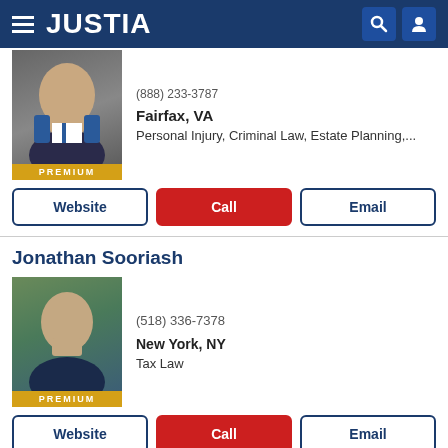JUSTIA
(888) 233-3787
Fairfax, VA
Personal Injury, Criminal Law, Estate Planning,...
Website | Call | Email
Jonathan Sooriash
(518) 336-7378
New York, NY
Tax Law
Website | Call | Email
David Joseph Dischley